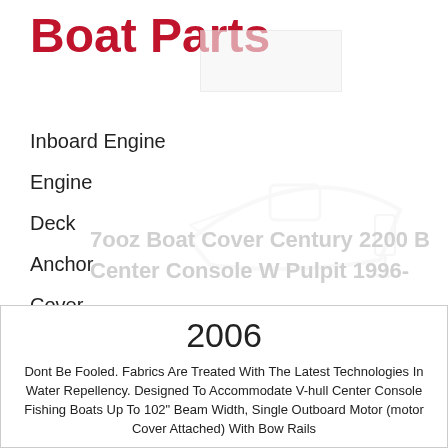Boat Parts
Inboard Engine
Engine
Deck
Anchor
Cover
Seat
[Figure (illustration): Watermark illustration of a boat (light gray outline of a motorboat/center console)]
7ooz Boat Cover Century 2200 B Center Console W Pulpit 1996-
2006
Dont Be Fooled. Fabrics Are Treated With The Latest Technologies In Water Repellency. Designed To Accommodate V-hull Center Console Fishing Boats Up To 102" Beam Width, Single Outboard Motor (motor Cover Attached) With Bow Rails